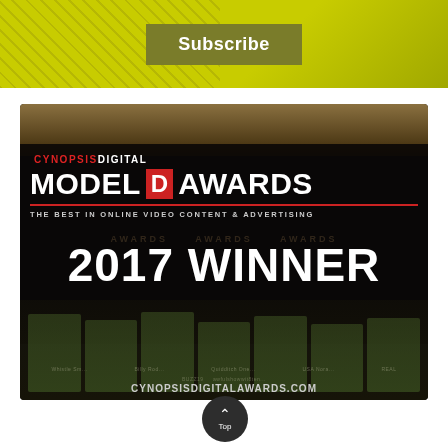[Figure (screenshot): Top banner with yellow-green background and a 'Subscribe' button in olive/dark yellow color]
[Figure (photo): Cynopsis Digital Model D Awards promotional image showing '2017 WINNER' text overlay on dark background with award trophies, red branding, and website URL cynopsisdigitalawards.com]
[Figure (screenshot): Bottom white section with a circular dark 'Top' button with upward chevron arrow]